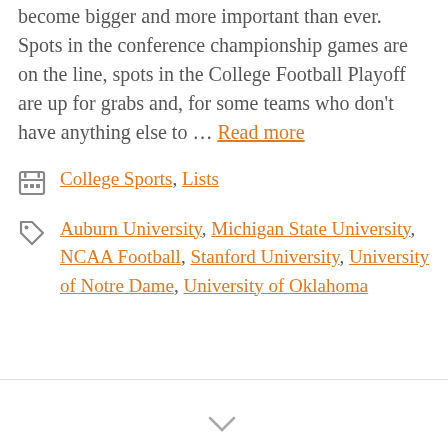only mean one thing: the games are starting to become bigger and more important than ever. Spots in the conference championship games are on the line, spots in the College Football Playoff are up for grabs and, for some teams who don't have anything else to … Read more
Categories: College Sports, Lists
Tags: Auburn University, Michigan State University, NCAA Football, Stanford University, University of Notre Dame, University of Oklahoma